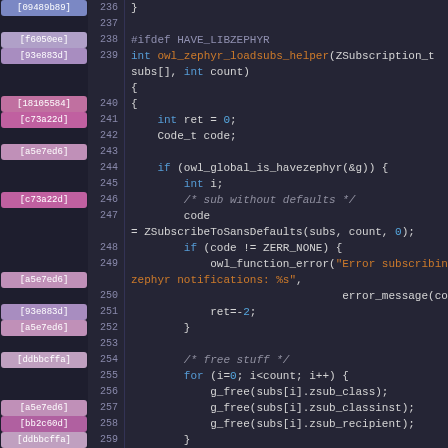[Figure (screenshot): Source code viewer showing C code with blame annotations and line numbers, lines 236-264. The code shows a function owl_zephyr_loadsubs_helper with Zephyr subscription handling logic.]